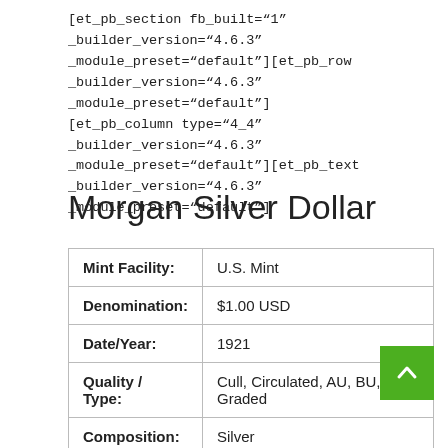[et_pb_section fb_built="1" _builder_version="4.6.3" _module_preset="default"][et_pb_row _builder_version="4.6.3" _module_preset="default"][et_pb_column type="4_4" _builder_version="4.6.3" _module_preset="default"][et_pb_text _builder_version="4.6.3" _module_preset="default"]
Morgan Silver Dollar
|  |  |
| --- | --- |
| Mint Facility: | U.S. Mint |
| Denomination: | $1.00 USD |
| Date/Year: | 1921 |
| Quality / Type: | Cull, Circulated, AU, BU, Graded |
| Composition: | Silver |
| Purity: | 90% Silver 10% Copper |